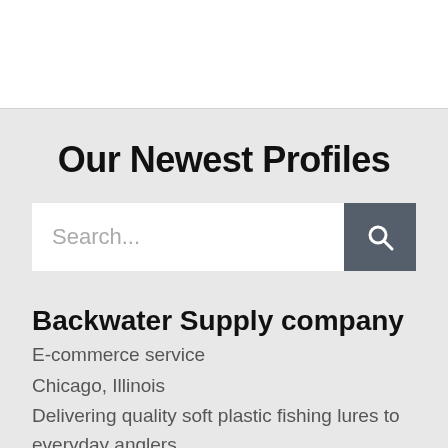Our Newest Profiles
[Figure (screenshot): Search bar with text input placeholder 'Search...' and a dark grey search button with magnifying glass icon]
Backwater Supply company
E-commerce service
Chicago, Illinois
Delivering quality soft plastic fishing lures to everyday anglers